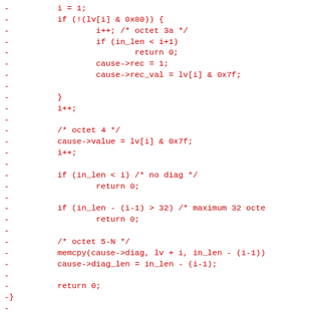[Figure (other): Source code diff showing deleted lines (prefixed with -) of C code implementing cause decoding/encoding logic, displayed in red monospace font on white background.]